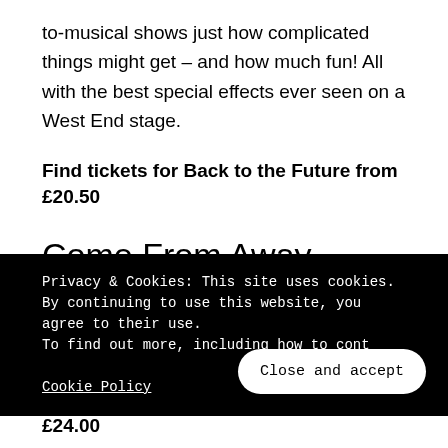to-musical shows just how complicated things might get – and how much fun! All with the best special effects ever seen on a West End stage.
Find tickets for Back to the Future from £20.50
Come From Away
When the world around is falling apart, sometimes complete strangers can become best friends. When your son's a firefighter on 9/11,
Privacy & Cookies: This site uses cookies. By continuing to use this website, you agree to their use.
To find out more, including how to cont…
Cookie Policy
Close and accept
Find tickets for Come From Away from £24.00